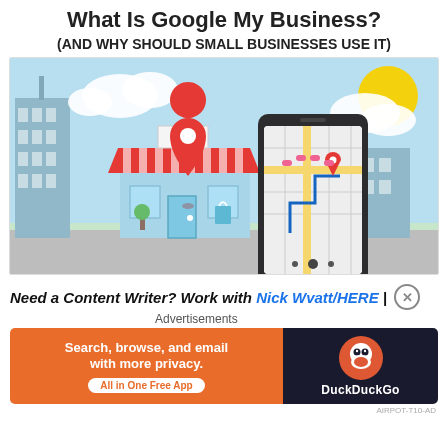What Is Google My Business?
(AND WHY SHOULD SMALL BUSINESSES USE IT)
[Figure (illustration): Illustration of a city scene with a smartphone displaying a Google Maps-style map with a red location pin, a storefront with a red and white striped awning, a Google Maps location pin, buildings, trees, a bus stop sign, a yellow sun and clouds in the background.]
Need a Content Writer? Work with Nick Wvatt/HERE |
Advertisements
[Figure (screenshot): DuckDuckGo advertisement banner: orange background on left side reading 'Search, browse, and email with more privacy. All in One Free App' with a white pill-shaped button, dark right side with DuckDuckGo duck logo and 'DuckDuckGo' text.]